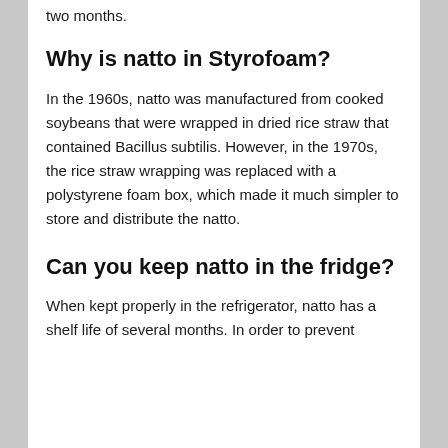two months.
Why is natto in Styrofoam?
In the 1960s, natto was manufactured from cooked soybeans that were wrapped in dried rice straw that contained Bacillus subtilis. However, in the 1970s, the rice straw wrapping was replaced with a polystyrene foam box, which made it much simpler to store and distribute the natto.
Can you keep natto in the fridge?
When kept properly in the refrigerator, natto has a shelf life of several months. In order to prevent